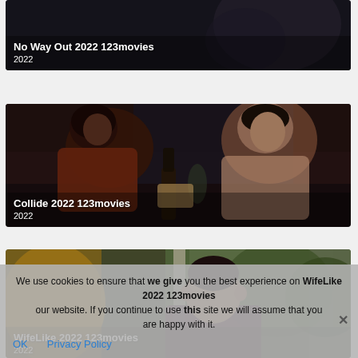[Figure (screenshot): Movie card: No Way Out 2022 123movies - dark cinematic still]
[Figure (screenshot): Movie card: Collide 2022 123movies - two people at restaurant table with wine bottle]
[Figure (screenshot): Movie card: WifeLike 2022 123movies - man sitting indoors with greenery outside]
We use cookies to ensure that we give you the best experience on our website. If you continue to use this site we will assume that you are happy with it.
OK   Privacy Policy